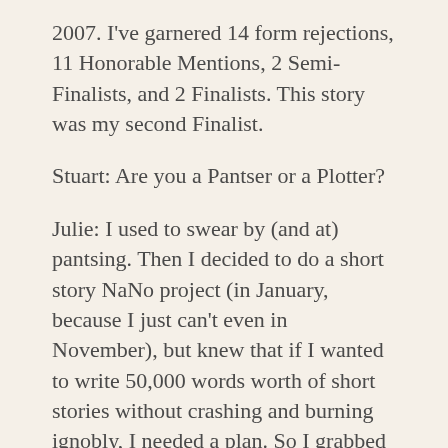2007. I've garnered 14 form rejections, 11 Honorable Mentions, 2 Semi-Finalists, and 2 Finalists. This story was my second Finalist.
Stuart: Are you a Pantser or a Plotter?
Julie: I used to swear by (and at) pantsing. Then I decided to do a short story NaNo project (in January, because I just can't even in November), but knew that if I wanted to write 50,000 words worth of short stories without crashing and burning ignobly, I needed a plan. So I grabbed the Seven-Point Plot Outline, plotted out seven stories using it, and wrote five of them